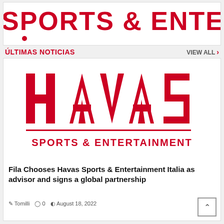[Figure (logo): Havas Sports & Entertainment logo banner at top of page, red text on white background, partially cropped]
ÚLTIMAS NOTICIAS
VIEW ALL ›
[Figure (logo): Havas Sports & Entertainment logo — red bold HAVAS text with horizontal rule, SPORTS & ENTERTAINMENT below, on white card background]
Fila Chooses Havas Sports & Entertainment Italia as advisor and signs a global partnership
Tomilli  ○ 0  ⊙ August 18, 2022